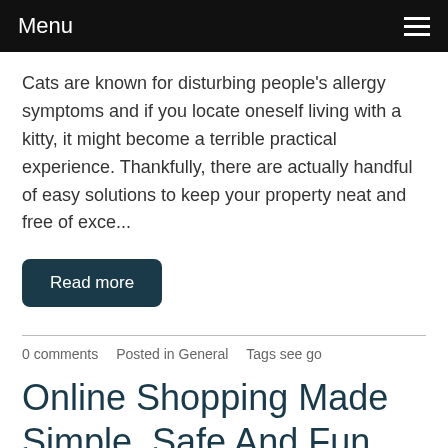Menu
Cats are known for disturbing people's allergy symptoms and if you locate oneself living with a kitty, it might become a terrible practical experience. Thankfully, there are actually handful of easy solutions to keep your property neat and free of exce...
Read more
0 comments   Posted in General   Tags see go
Online Shopping Made Simple, Safe And Fun